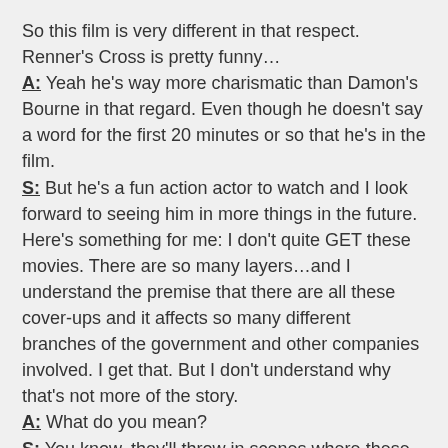So this film is very different in that respect. Renner's Cross is pretty funny…
A: Yeah he's way more charismatic than Damon's Bourne in that regard. Even though he doesn't say a word for the first 20 minutes or so that he's in the film.
S: But he's a fun action actor to watch and I look forward to seeing him in more things in the future.
Here's something for me: I don't quite GET these movies. There are so many layers…and I understand the premise that there are all these cover-ups and it affects so many different branches of the government and other companies involved. I get that. But I don't understand why that's not more of the story.
A: What do you mean?
S: You know, they'll throw in scenes where these agents are all talking about having to shut down these programs or hunt down Bourne or Cross, but why not go into that more instead…